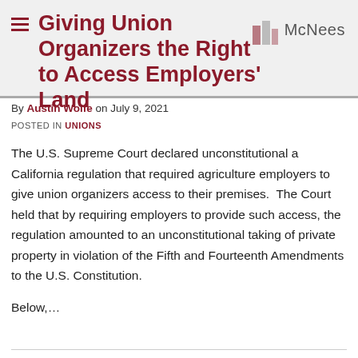Giving Union Organizers the Right to Access Employers' Land
By Austin Wolfe on July 9, 2021
POSTED IN UNIONS
The U.S. Supreme Court declared unconstitutional a California regulation that required agriculture employers to give union organizers access to their premises.  The Court held that by requiring employers to provide such access, the regulation amounted to an unconstitutional taking of private property in violation of the Fifth and Fourteenth Amendments to the U.S. Constitution.
Below,...